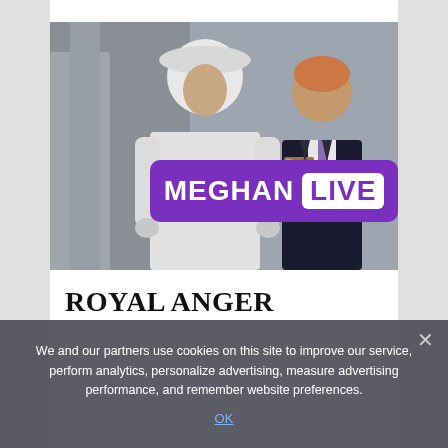[Figure (photo): Photo of Meghan Markle (woman in white coat and hat) and Prince Harry (man in dark suit with medals) at a royal event, with 'MEGHAN LIVE' purple badge overlay]
ROYAL ANGER
We and our partners use cookies on this site to improve our service, perform analytics, personalize advertising, measure advertising performance, and remember website preferences.
OK